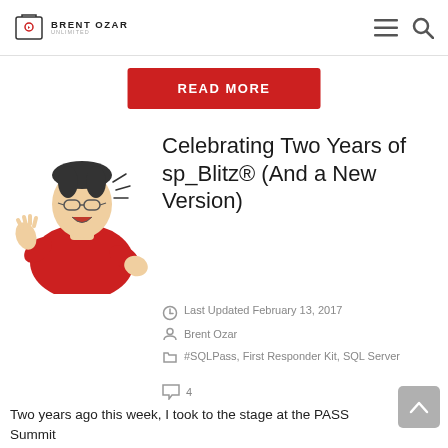BRENT OZAR
READ MORE
[Figure (illustration): Cartoon illustration of a man in a red sweater, gesturing with hands raised, wearing glasses, mouth open as if speaking enthusiastically]
Celebrating Two Years of sp_Blitz® (And a New Version)
Last Updated February 13, 2017
Brent Ozar
#SQLPass, First Responder Kit, SQL Server
4
Two years ago this week, I took to the stage at the PASS Summit